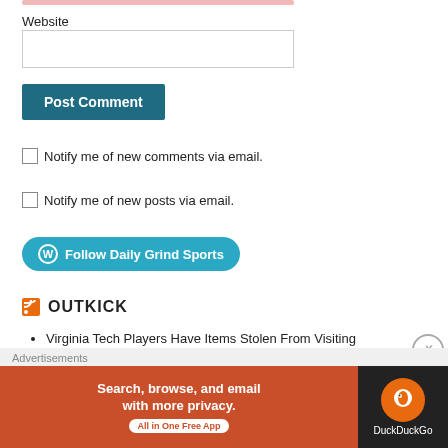Website
Post Comment
Notify me of new comments via email.
Notify me of new posts via email.
[Figure (other): Follow Daily Grind Sports button with WordPress icon]
OUTKICK
Virginia Tech Players Have Items Stolen From Visiting Lockers At Old Dominion
[Figure (other): DuckDuckGo advertisement banner: Search, browse, and email with more privacy. All in One Free App]
Advertisements